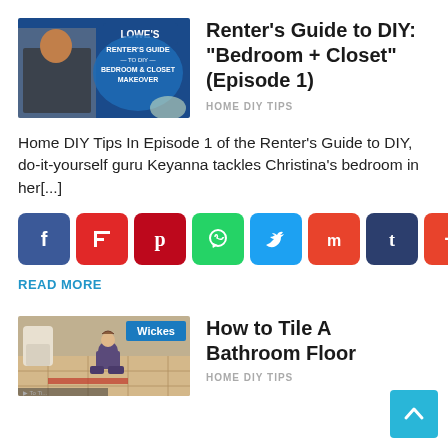[Figure (photo): Lowe's Renter's Guide to DIY Bedroom & Closet Makeover thumbnail with woman in patterned top]
Renter's Guide to DIY: "Bedroom + Closet" (Episode 1)
HOME DIY TIPS
Home DIY Tips In Episode 1 of the Renter's Guide to DIY, do-it-yourself guru Keyanna tackles Christina's bedroom in her[...]
[Figure (infographic): Social sharing icons: Facebook, Flipboard, Pinterest, WhatsApp, Twitter, Mix, Tumblr, More]
READ MORE
[Figure (photo): Wickes How to Tile A Bathroom Floor video thumbnail]
How to Tile A Bathroom Floor
HOME DIY TIPS